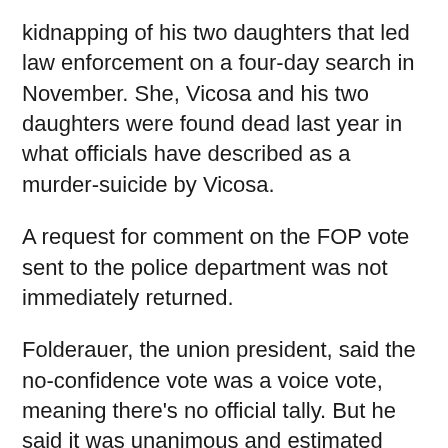kidnapping of his two daughters that led law enforcement on a four-day search in November. She, Vicosa and his two daughters were found dead last year in what officials have described as a murder-suicide by Vicosa.
A request for comment on the FOP vote sent to the police department was not immediately returned.
Folderauer, the union president, said the no-confidence vote was a voice vote, meaning there's no official tally. But he said it was unanimous and estimated there were well over 100 members present.
Hyatt was nominated for the position by Olszewski in May 2019 following a national search. Olszewski praised her at the time as community-oriented and innovative, and said he hoped the department would embrace community policing, strengthen diversity and improve transparency and technology.